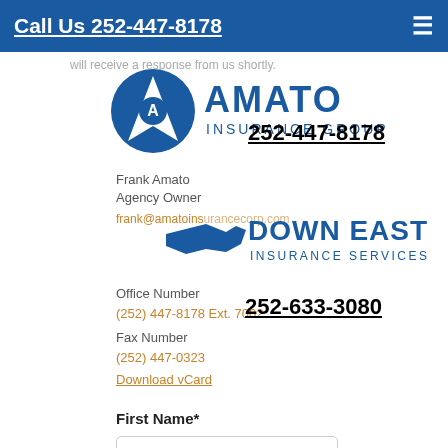Call Us 252-447-8178
will receive a response from us shortly.
[Figure (logo): Amato Insurance Group logo with circular A emblem and text AMATO INSURANCE GROUP]
252-447-8178
Frank Amato
Agency Owner
frank@amatoinsu...
[Figure (logo): Down East Insurance Services logo with North Carolina state outline and text DOWN EAST INSURANCE SERVICES]
252-633-3080
Office Number
(252) 447-8178 Ext. 7002
Fax Number
(252) 447-0323
Download vCard
First Name*
Last Name*